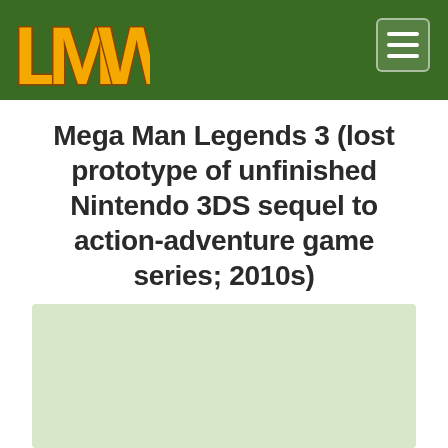LMW logo and navigation header
Mega Man Legends 3 (lost prototype of unfinished Nintendo 3DS sequel to action-adventure game series; 2010s)
[Figure (other): Light green rectangular placeholder box]